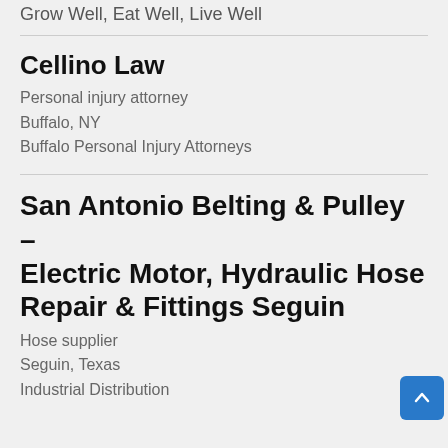Grow Well, Eat Well, Live Well
Cellino Law
Personal injury attorney
Buffalo, NY
Buffalo Personal Injury Attorneys
San Antonio Belting & Pulley – Electric Motor, Hydraulic Hose Repair & Fittings Seguin
Hose supplier
Seguin, Texas
Industrial Distribution